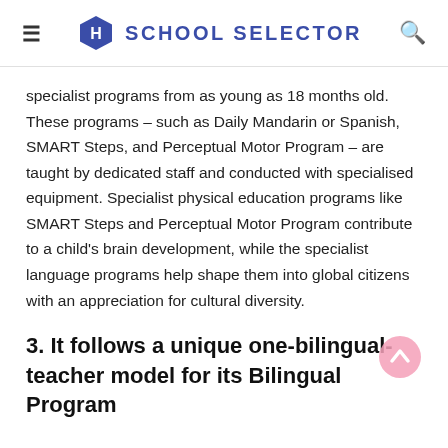SCHOOL SELECTOR
specialist programs from as young as 18 months old. These programs – such as Daily Mandarin or Spanish, SMART Steps, and Perceptual Motor Program – are taught by dedicated staff and conducted with specialised equipment. Specialist physical education programs like SMART Steps and Perceptual Motor Program contribute to a child's brain development, while the specialist language programs help shape them into global citizens with an appreciation for cultural diversity.
3. It follows a unique one-bilingual-teacher model for its Bilingual Program